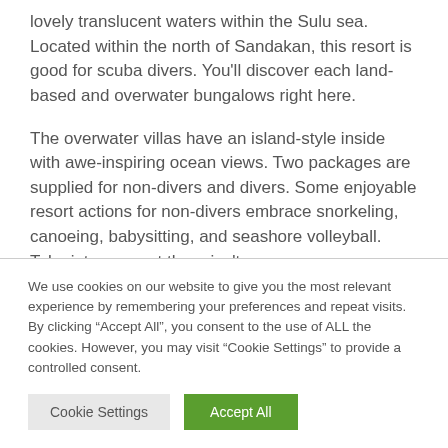lovely translucent waters within the Sulu sea. Located within the north of Sandakan, this resort is good for scuba divers. You'll discover each land-based and overwater bungalows right here.
The overwater villas have an island-style inside with awe-inspiring ocean views. Two packages are supplied for non-divers and divers. Some enjoyable resort actions for non-divers embrace snorkeling, canoeing, babysitting, and seashore volleyball. Take into account there isn't any spa on
We use cookies on our website to give you the most relevant experience by remembering your preferences and repeat visits. By clicking “Accept All”, you consent to the use of ALL the cookies. However, you may visit "Cookie Settings" to provide a controlled consent.